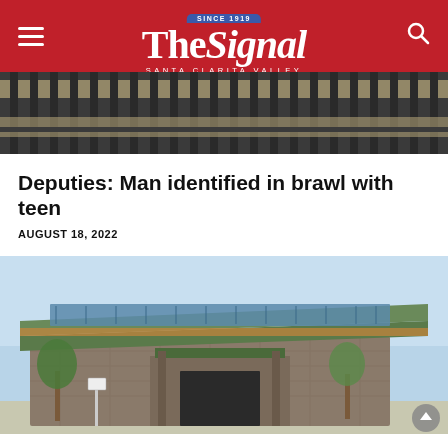The Signal — Santa Clarita Valley — Since 1919
[Figure (photo): Close-up photo of a modern building facade with vertical dark metal fins/louvers and windows]
Deputies: Man identified in brawl with teen
AUGUST 18, 2022
[Figure (photo): Exterior photo of the Santa Clarita Valley Sheriff's Station building, a modern stone and glass structure with a green slanted roof, trees in front, and a blue sky background]